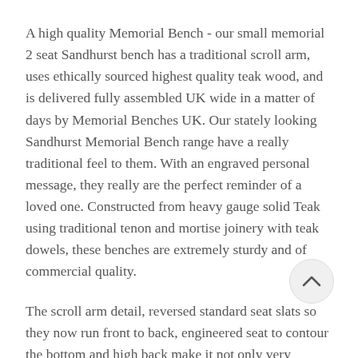A high quality Memorial Bench - our small memorial 2 seat Sandhurst bench has a traditional scroll arm, uses ethically sourced highest quality teak wood, and is delivered fully assembled UK wide in a matter of days by Memorial Benches UK. Our stately looking Sandhurst Memorial Bench range have a really traditional feel to them. With an engraved personal message, they really are the perfect reminder of a loved one. Constructed from heavy gauge solid Teak using traditional tenon and mortise joinery with teak dowels, these benches are extremely sturdy and of commercial quality.
The scroll arm detail, reversed standard seat slats so they now run front to back, engineered seat to contour the bottom and high back make it not only very comfortable but also very graceful. This 2 person version can have an engraved plaque and or you can chose to engrave your words and images directly into the top rail and or lower rail for a truly lasting tribute. We offer a free design service so if at any